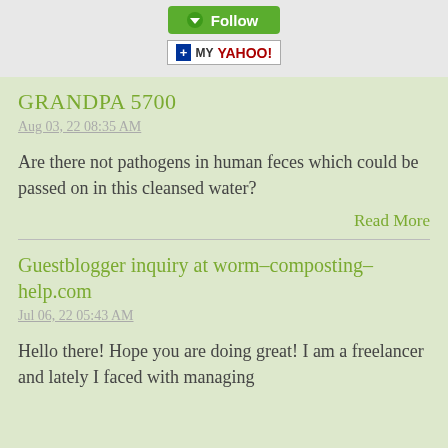[Figure (other): Green Follow button and Add to My Yahoo! button]
GRANDPA 5700
Aug 03, 22 08:35 AM
Are there not pathogens in human feces which could be passed on in this cleansed water?
Read More
Guestblogger inquiry at worm-composting-help.com
Jul 06, 22 05:43 AM
Hello there! Hope you are doing great! I am a freelancer and lately I faced with managing